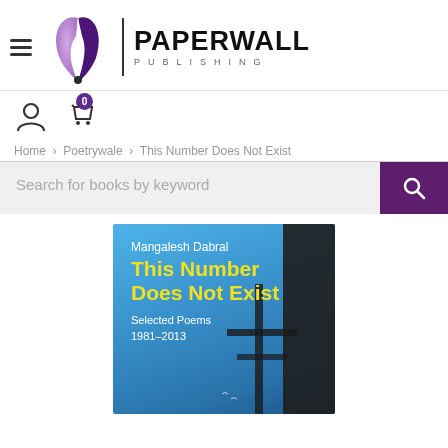[Figure (logo): Paperwall Publishing logo with purple feather/quill icon and brand name]
[Figure (illustration): User account icon and shopping cart icon with badge showing 0]
Home > Poetrywale > This Number Does Not Exist
Search for books by keyword
[Figure (photo): Book cover: 'This Number Does Not Exist' by Mangalesh Dabral, Selected Poems 1981-2013, blue cover with dark building silhouette]